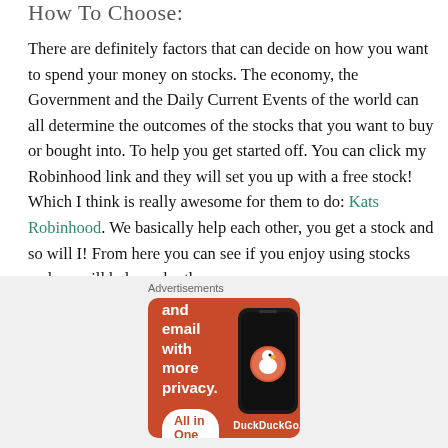How To Choose:
There are definitely factors that can decide on how you want to spend your money on stocks. The economy, the Government and the Daily Current Events of the world can all determine the outcomes of the stocks that you want to buy or bought into. To help you get started off. You can click my Robinhood link and they will set you up with a free stock! Which I think is really awesome for them to do: Kats Robinhood. We basically help each other, you get a stock and so will I! From here you can see if you enjoy using stocks and we will help each other
[Figure (other): DuckDuckGo advertisement banner showing 'Search, browse, and email with more privacy. All in One Free App' with a phone mockup and DuckDuckGo logo]